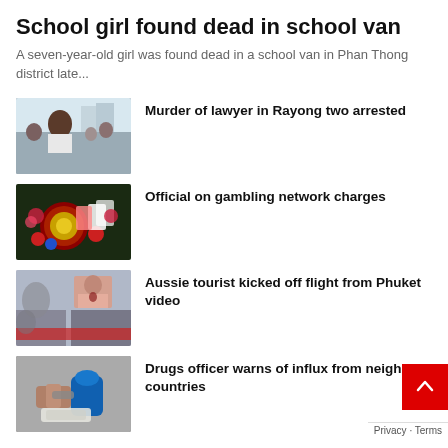School girl found dead in school van
A seven-year-old girl was found dead in a school van in Phan Thong district late...
[Figure (photo): Man in white t-shirt with crowd in background]
Murder of lawyer in Rayong two arrested
[Figure (photo): Gambling-themed image with roulette wheel and casino chips]
Official on gambling network charges
[Figure (photo): Airplane cabin scene with a woman]
Aussie tourist kicked off flight from Phuket video
[Figure (photo): Hands in handcuffs with blue gloves and a bag of drugs]
Drugs officer warns of influx from neighbouring countries